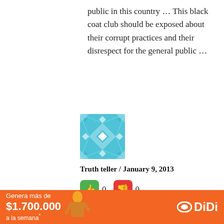public in this country … This black coat club should be exposed about their corrupt practices and their disrespect for the general public …
[Figure (illustration): Avatar image: blue geometric quilt/mosaic pattern square]
Truth teller / January 9, 2013
[Figure (infographic): Thumbs up (green) vote button showing 0, thumbs down (red) vote button showing 0]
If the bar is in strike, does that mean we can walk freely along Mihindu Mawatha and Hultsdorf without black coats harassing us for cases?
[Figure (infographic): Orange DiDi advertisement banner: Genera más de $1.700.000 a la semana*]